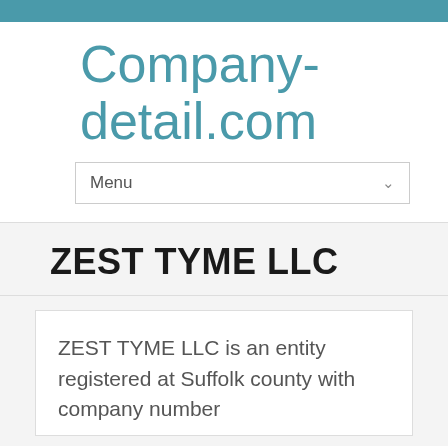Company-detail.com
Menu
ZEST TYME LLC
ZEST TYME LLC is an entity registered at Suffolk county with company number 6096150. ZEST TYME LLC...